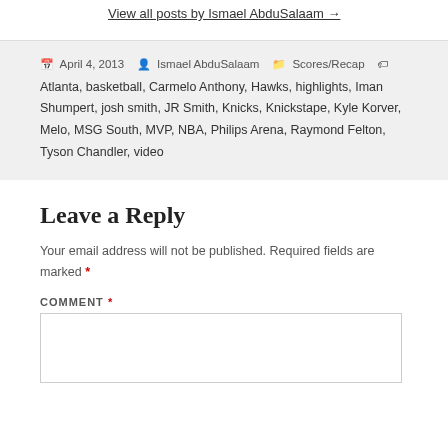View all posts by Ismael AbduSalaam →
Posted April 4, 2013  Ismael AbduSalaam  Categories Scores/Recap  Tags Atlanta, basketball, Carmelo Anthony, Hawks, highlights, Iman Shumpert, josh smith, JR Smith, Knicks, Knickstape, Kyle Korver, Melo, MSG South, MVP, NBA, Philips Arena, Raymond Felton, Tyson Chandler, video
Leave a Reply
Your email address will not be published. Required fields are marked *
COMMENT *